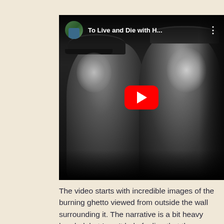[Figure (screenshot): YouTube video thumbnail showing a black and white photograph of two women wearing caps, with a YouTube play button overlay and title 'To Live and Die with H...' at the top with a channel avatar]
The video starts with incredible images of the burning ghetto viewed from outside the wall surrounding it. The narrative is a bit heavy handed, but I can't help feeling that the resistance fighters deserve to be